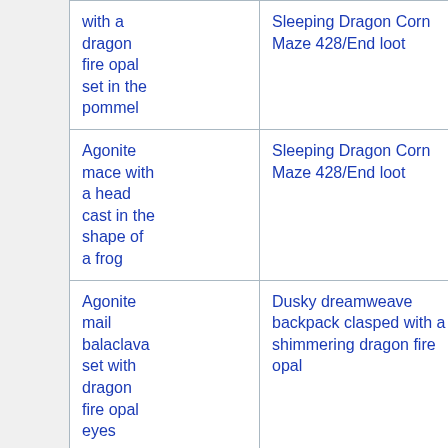|  | Item | Source | Flag |
| --- | --- | --- | --- |
|  | with a dragon fire opal set in the pommel | Sleeping Dragon Corn Maze 428/End loot | true |
|  | Agonite mace with a head cast in the shape of a frog | Sleeping Dragon Corn Maze 428/End loot | true |
|  | Agonite mail balaclava set with dragon fire opal eyes | Dusky dreamweave backpack clasped with a shimmering dragon fire opal |  |
|  | Agonite |  |  |